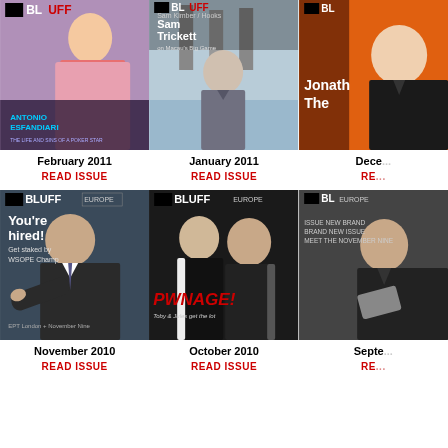[Figure (photo): Bluff Europe magazine cover - February 2011, Antonio Esfandiari]
February 2011
READ ISSUE
[Figure (photo): Bluff Europe magazine cover - January 2011, Sam Trickett on Macau's Big Game]
January 2011
READ ISSUE
[Figure (photo): Bluff Europe magazine cover - December 2010, Jonathan partial view]
Dece...
RE...
[Figure (photo): Bluff Europe magazine cover - November 2010, You're hired! Get staked by WSOPE Champ]
November 2010
READ ISSUE
[Figure (photo): Bluff Europe magazine cover - October 2010, PWNAGE! Toby and Jules get the lot]
October 2010
READ ISSUE
[Figure (photo): Bluff Europe magazine cover - September 2010, partial view]
Septe...
RE...